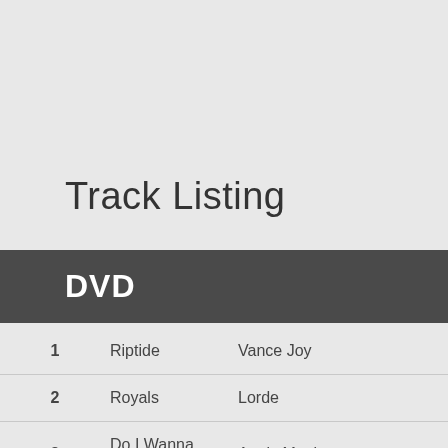Track Listing
DVD
1	Riptide	Vance Joy
2	Royals	Lorde
3	Do I Wanna Know?	Arctic Monkeys
4	Drop The Game	Flume & Chet Faker